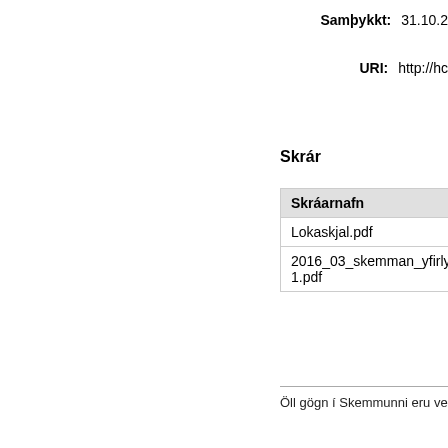Samþykkt: 31.10.2
URI: http://hc
Skrár
| Skráarnafn |
| --- |
| Lokaskjal.pdf |
| 2016_03_skemman_yfirlysing_lok
1.pdf |
Öll gögn í Skemmunni eru vernduð a